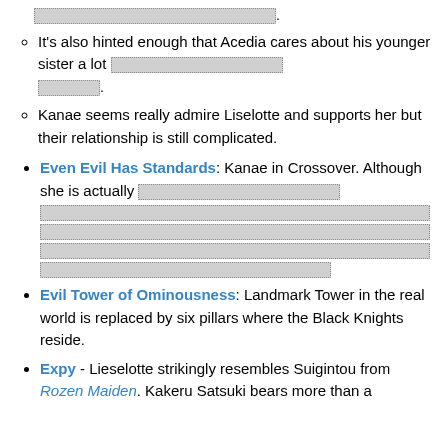[redacted] It's also hinted enough that Acedia cares about his younger sister a lot [redacted] [redacted].
Kanae seems really admire Liselotte and supports her but their relationship is still complicated.
Even Evil Has Standards: Kanae in Crossover. Although she is actually [redacted blocks].
Evil Tower of Ominousness: Landmark Tower in the real world is replaced by six pillars where the Black Knights reside.
Expy - Lieselotte strikingly resembles Suigintou from Rozen Maiden. Kakeru Satsuki bears more than a